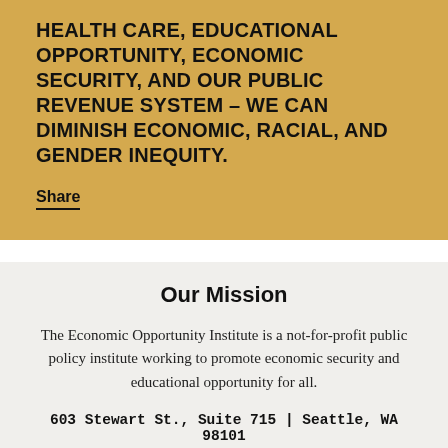HEALTH CARE, EDUCATIONAL OPPORTUNITY, ECONOMIC SECURITY, AND OUR PUBLIC REVENUE SYSTEM – WE CAN DIMINISH ECONOMIC, RACIAL, AND GENDER INEQUITY.
Share
Our Mission
The Economic Opportunity Institute is a not-for-profit public policy institute working to promote economic security and educational opportunity for all.
603 Stewart St., Suite 715 | Seattle, WA 98101